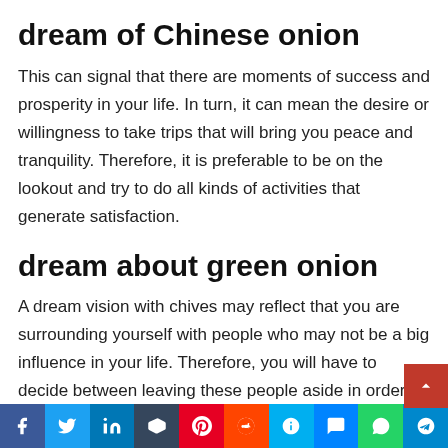dream of Chinese onion
This can signal that there are moments of success and prosperity in your life. In turn, it can mean the desire or willingness to take trips that will bring you peace and tranquility. Therefore, it is preferable to be on the lookout and try to do all kinds of activities that generate satisfaction.
dream about green onion
A dream vision with chives may reflect that you are surrounding yourself with people who may not be a big influence in your life. Therefore, you will have to decide between leaving these people aside in order to prosper or continuing to live with that kind of “friends” who only bring y… problems and don’t care too much about your well-being.
Social share bar: Facebook, Twitter, LinkedIn, Tumblr, Pinterest, Reddit, Skype, Messenger, WhatsApp, Telegram